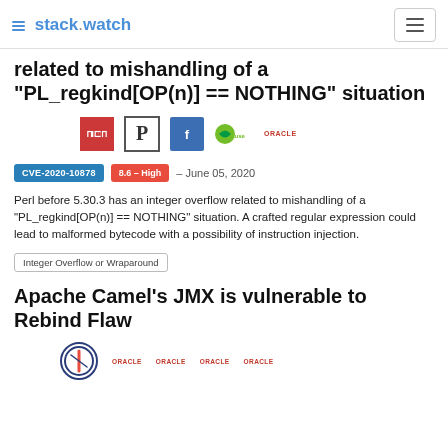stack.watch
related to mishandling of a "PL_regkind[OP(n)] == NOTHING" situation
[Figure (logo): Vendor logos: npm, CPAN (P), Fedora, SUSE, Oracle]
CVE-2020-10878  8.6 - High  – June 05, 2020
Perl before 5.30.3 has an integer overflow related to mishandling of a "PL_regkind[OP(n)] == NOTHING" situation. A crafted regular expression could lead to malformed bytecode with a possibility of instruction injection.
Integer Overflow or Wraparound
Apache Camel's JMX is vulnerable to Rebind Flaw
[Figure (logo): Vendor logos: Apache Camel logo, Oracle x4]